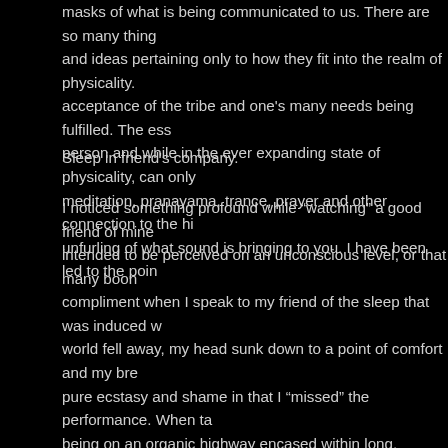masks of what is being communicated to us. There are so many things and ideas pertaining only to how they fit into the realm of physicality. acceptance of the tribe and one's many needs being fulfilled. The ess person and while in the ever expanding state of physicality, can only meditation, pranayama, trance, prayer and other connection to the hi unfurling of what sound is bringing to you. I have been led to the poin
Sleep in friend's company.
I noticed something profound while “watching” a good friend of mine intended to be perceived on an unconscious level, or that many boon compliment when I speak to my friend of the sleep that was induced world fell away, my head sunk down to a point of comfort and my bre pure ecstasy and shame in that I “missed” the performance. When ta being on an organic highway encased within long, cylindrical portals emotional intention. I will note that I was not under the influence of er land of dreams was wholly of that realm of unconscious communicati which could be ambient, drone, beautiful atmospheric communication unsubstantial, I find it difficult to engage in the traditional performance mind, yet through it's theoretical explanation, it shall sum up what I a